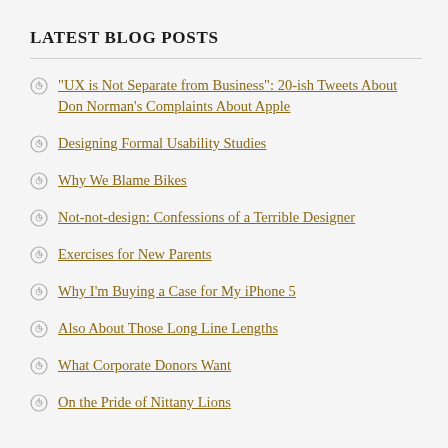LATEST BLOG POSTS
“UX is Not Separate from Business”: 20-ish Tweets About Don Norman’s Complaints About Apple
Designing Formal Usability Studies
Why We Blame Bikes
Not-not-design: Confessions of a Terrible Designer
Exercises for New Parents
Why I’m Buying a Case for My iPhone 5
Also About Those Long Line Lengths
What Corporate Donors Want
On the Pride of Nittany Lions